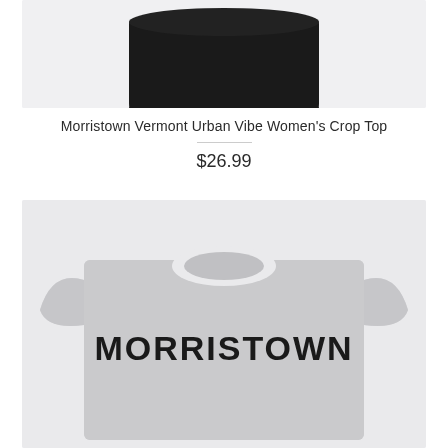[Figure (photo): Partial view of a black women's crop top against a light gray background, showing the bottom hem and lower portion of the garment.]
Morristown Vermont Urban Vibe Women's Crop Top
$26.99
[Figure (photo): Gray heather women's t-shirt with 'MORRISTOWN' printed in bold arched collegiate-style black lettering across the chest, against a light gray background.]